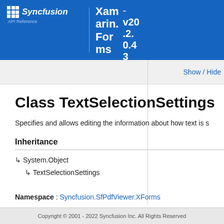Syncfusion API Reference — Xamarin.Forms v20.2.0.43
Class TextSelectionSettings
Specifies and allows editing the information about how text is s
Inheritance
↳ System.Object
↳ TextSelectionSettings
Namespace : Syncfusion.SfPdfViewer.XForms
Copyright © 2001 - 2022 Syncfusion Inc. All Rights Reserved